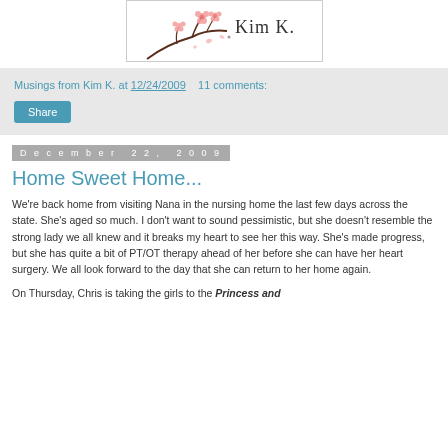[Figure (logo): Kim K. blog logo with cherry blossom branch illustration and stylized text 'Kim K.']
Musings from Kim K. at 12/24/2009   11 comments:
Share
December 22, 2009
Home Sweet Home...
We're back home from visiting Nana in the nursing home the last few days across the state. She's aged so much. I don't want to sound pessimistic, but she doesn't resemble the strong lady we all knew and it breaks my heart to see her this way. She's made progress, but she has quite a bit of PT/OT therapy ahead of her before she can have her heart surgery. We all look forward to the day that she can return to her home again.
On Thursday, Chris is taking the girls to the Princess and